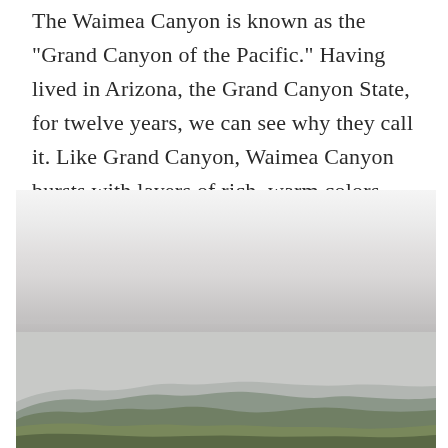The Waimea Canyon is known as the "Grand Canyon of the Pacific." Having lived in Arizona, the Grand Canyon State, for twelve years, we can see why they call it. Like Grand Canyon, Waimea Canyon bursts with layers of rich, warm colors. And the hiking there is pretty amazing, too.
[Figure (photo): Aerial or elevated landscape photograph showing overcast sky with clouds above and rolling green canyon mountains below, taken at Waimea Canyon, Kauai.]